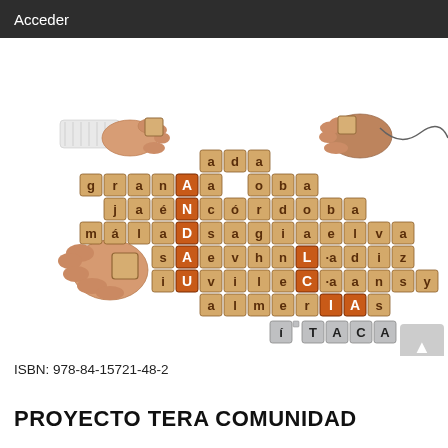Acceder
[Figure (illustration): Scrabble-style word puzzle illustration showing wooden letter tiles arranged in a crossword pattern spelling out 'ANDALUCIA' and various Andalusian city names (granada, cordoba, sevilla, huelva, cadiz, malaga, almeria, jaen), with hands holding tiles around the board and grey tiles spelling 'ITACA' in the bottom-right corner.]
ISBN: 978-84-15721-48-2
PROYECTO TERA COMUNIDAD